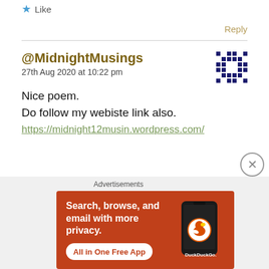Thank you so much 🙂🙂
★ Like
Reply
@MidnightMusings
27th Aug 2020 at 10:22 pm
Nice poem.
Do follow my webiste link also.
https://midnight12musin.wordpress.com/
[Figure (other): DuckDuckGo advertisement banner with text: Search, browse, and email with more privacy. All in One Free App, showing a phone with DuckDuckGo logo]